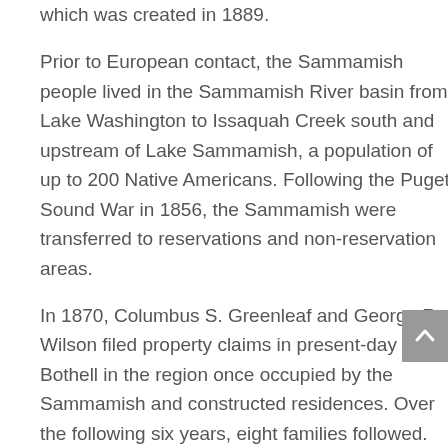which was created in 1889.
Prior to European contact, the Sammamish people lived in the Sammamish River basin from Lake Washington to Issaquah Creek south and upstream of Lake Sammamish, a population of up to 200 Native Americans. Following the Puget Sound War in 1856, the Sammamish were transferred to reservations and non-reservation areas.
In 1870, Columbus S. Greenleaf and George R. Wilson filed property claims in present-day Bothell in the region once occupied by the Sammamish and constructed residences. Over the following six years, eight families followed. Canadian George Brackett purchased property in 1876 and started commercial logging from a camp on the north bank of the Sammamish